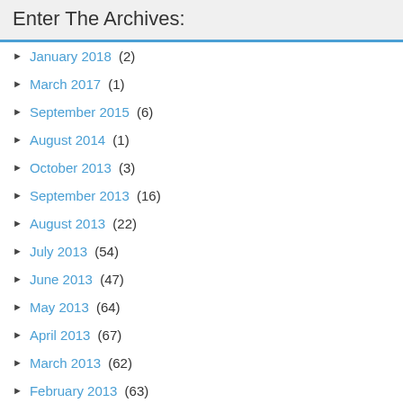Enter The Archives:
January 2018 (2)
March 2017 (1)
September 2015 (6)
August 2014 (1)
October 2013 (3)
September 2013 (16)
August 2013 (22)
July 2013 (54)
June 2013 (47)
May 2013 (64)
April 2013 (67)
March 2013 (62)
February 2013 (63)
January 2013 (63)